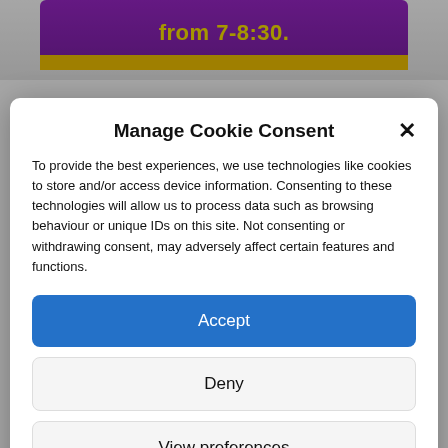[Figure (screenshot): Partially visible web page background showing a purple banner with yellow text 'from 7-8:30.' and a yellow strip below, with bold text 'Playworkers' Forum March 22' at the bottom]
Manage Cookie Consent
To provide the best experiences, we use technologies like cookies to store and/or access device information. Consenting to these technologies will allow us to process data such as browsing behaviour or unique IDs on this site. Not consenting or withdrawing consent, may adversely affect certain features and functions.
Accept
Deny
View preferences
Cookie Policy   Privacy & Cookie Policy, Terms of Use